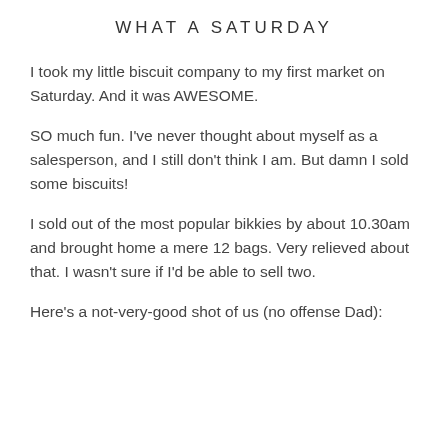WHAT A SATURDAY
I took my little biscuit company to my first market on Saturday. And it was AWESOME.
SO much fun. I've never thought about myself as a salesperson, and I still don't think I am. But damn I sold some biscuits!
I sold out of the most popular bikkies by about 10.30am and brought home a mere 12 bags. Very relieved about that. I wasn't sure if I'd be able to sell two.
Here's a not-very-good shot of us (no offense Dad):